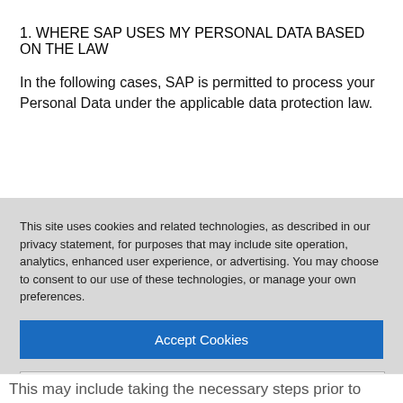1. WHERE SAP USES MY PERSONAL DATA BASED ON THE LAW
In the following cases, SAP is permitted to process your Personal Data under the applicable data protection law.
This site uses cookies and related technologies, as described in our privacy statement, for purposes that may include site operation, analytics, enhanced user experience, or advertising. You may choose to consent to our use of these technologies, or manage your own preferences.
Accept Cookies
More Information
Privacy Policy | Powered by: TrustArc
This may include taking the necessary steps prior to